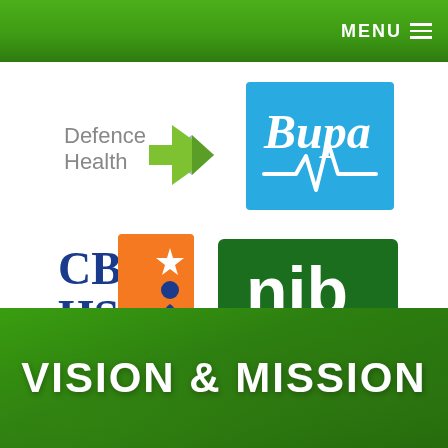MENU
[Figure (logo): Defence Health logo with arrow icon in green and grey]
[Figure (logo): Bupa logo on blue square background with heartbeat line]
[Figure (logo): CBHS logo with orange square and blue letters]
[Figure (logo): nib logo in white text on dark green rectangle]
VISION & MISSION